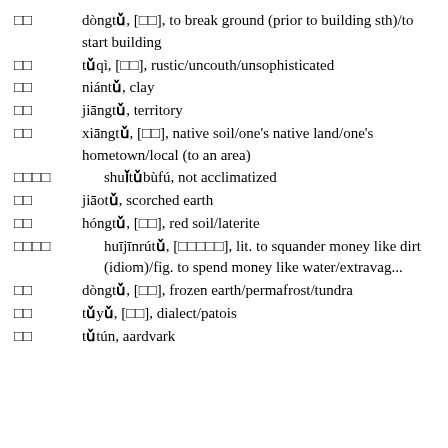□□  dòngtǔ, [□□], to break ground (prior to building sth)/to start building
□□  tǔqì, [□□], rustic/uncouth/unsophisticated
□□  niántǔ, clay
□□  jiāngtǔ, territory
□□  xiāngtǔ, [□□], native soil/one's native land/one's hometown/local (to an area)
□□□□  shuǐtǔbùfú, not acclimatized
□□  jiāotǔ, scorched earth
□□  hóngtǔ, [□□], red soil/laterite
□□□□  huījīnrútǔ, [□□□□□], lit. to squander money like dirt (idiom)/fig. to spend money like water/extravag...
□□  dòngtǔ, [□□], frozen earth/permafrost/tundra
□□  tǔyǔ, [□□], dialect/patois
□□  tǔtún, aardvark